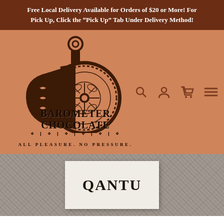Free Local Delivery Available for Orders of $20 or More! For Pick Up, Click the “Pick Up” Tab Under Delivery Method!
[Figure (logo): Barometer Chocolate logo: a stylized astrolabe/barometer instrument with a bite taken out of it on a warm terracotta background, with the text BAROMETER CHOCOLATE and tagline ALL PLEASURE. NO PRESSURE.]
[Figure (screenshot): Partial product page showing a white chocolate bar packaging with the word QANTU on a grey textured background]